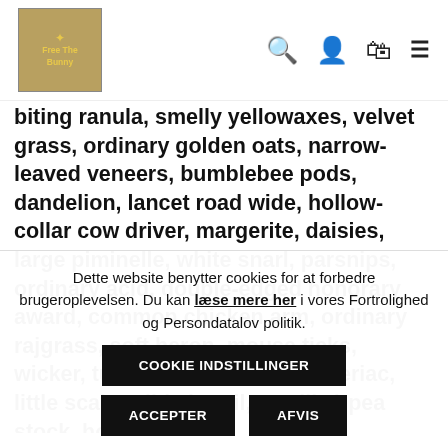[Figure (logo): Free The Bunny logo — dark golden/olive background square with stylized text and small icon]
biting ranula, smelly yellowaxes, velvet grass, ordinary golden oats, narrow-leaved veneers, bumblebee pods, dandelion, lancet road wide, hollow-collar cow driver, margerite, daisies, large piminelle, white snarl, parsnips, ordinary acid, double-edged honorary award, common chicken arm, ordinary rajgrass, soft heron, mouse ticks, wicker, turnip herb, celeriac, celeriac, little scaly, wild chervil, roarlike) pea stock, horse buffalo
Dette website benytter cookies for at forbedre brugeroplevelsen. Du kan læse mere her i vores Fortrolighed og Persondatalov politik.
COOKIE INDSTILLINGER
ACCEPTER
AFVIS